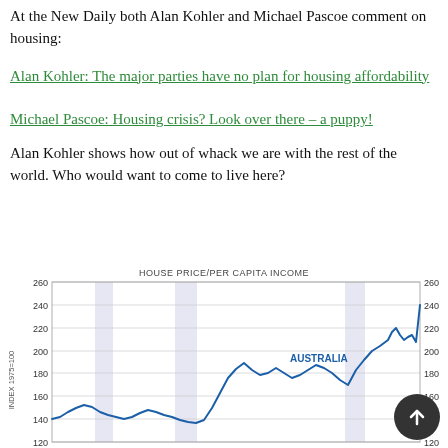At the New Daily both Alan Kohler and Michael Pascoe comment on housing:
Alan Kohler: The major parties have no plan for housing affordability
Michael Pascoe: Housing crisis? Look over there – a puppy!
Alan Kohler shows how out of whack we are with the rest of the world. Who would want to come to live here?
[Figure (line-chart): Line chart showing Australia house price per capita income index (1975=100) rising sharply from around 100-140 in early years to over 240 in recent times, with shaded recession bands.]